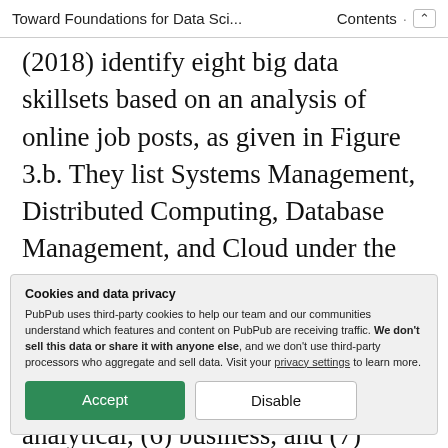Toward Foundations for Data Sci...   Contents  ^
(2018) identify eight big data skillsets based on an analysis of online job posts, as given in Figure 3.b. They list Systems Management, Distributed Computing, Database Management, and Cloud under the programming and engineering aspect of data science. Radilovsky et al. (2018) use
Cookies and data privacy
PubPub uses third-party cookies to help our team and our communities understand which features and content on PubPub are receiving traffic. We don't sell this data or share it with anyone else, and we don't use third-party processors who aggregate and sell data. Visit your privacy settings to learn more.
analytical, (6) business, and (7)